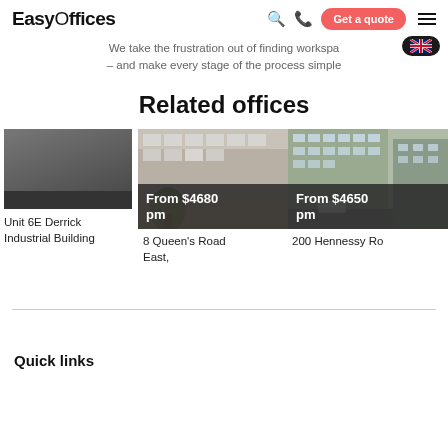EasyOffices — navigation bar with search, phone, Get a quote, menu icons
We take the frustration out of finding workspace – and make every stage of the process simple
Related offices
[Figure (photo): Card 1 partial: Unit 6E Derrick Industrial Building with dark banner]
Unit 6E Derrick Industrial Building
[Figure (photo): Card 2: Office building lobby interior with 'From $4680 pm' price overlay]
8 Queen's Road East,
[Figure (photo): Card 3 partial: Street-level office building exterior with 'From $4650 pm' price overlay]
200 Hennessy Roa
Quick links